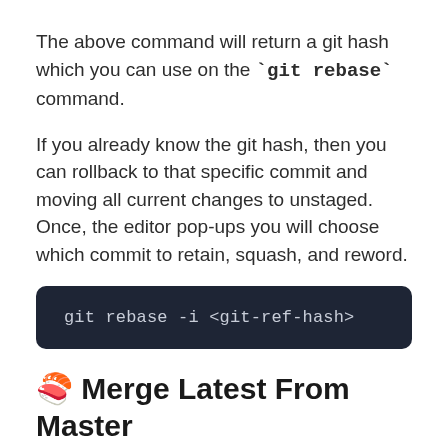The above command will return a git hash which you can use on the `git rebase` command.
If you already know the git hash, then you can rollback to that specific commit and moving all current changes to unstaged. Once, the editor pop-ups you will choose which commit to retain, squash, and reword.
git rebase -i <git-ref-hash>
🍣 Merge Latest From Master